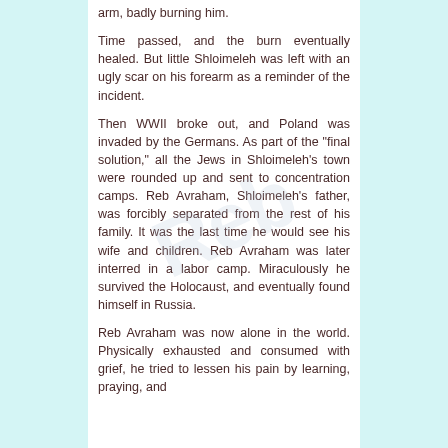arm, badly burning him.
Time passed, and the burn eventually healed. But little Shloimeleh was left with an ugly scar on his forearm as a reminder of the incident.
Then WWII broke out, and Poland was invaded by the Germans. As part of the "final solution," all the Jews in Shloimeleh's town were rounded up and sent to concentration camps. Reb Avraham, Shloimeleh's father, was forcibly separated from the rest of his family. It was the last time he would see his wife and children. Reb Avraham was later interred in a labor camp. Miraculously he survived the Holocaust, and eventually found himself in Russia.
Reb Avraham was now alone in the world. Physically exhausted and consumed with grief, he tried to lessen his pain by learning, praying, and